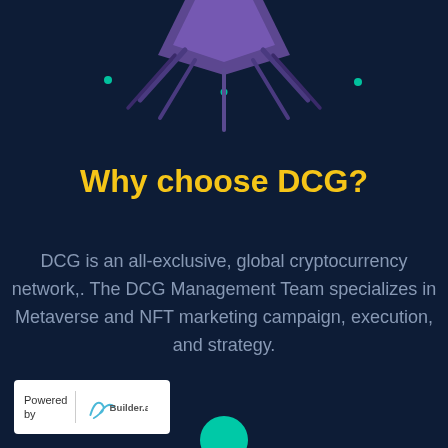[Figure (illustration): Dark blue background with a circuit-board style illustration at top showing a purple/blue geometric shape with connecting lines and cyan dot accents]
Why choose DCG?
DCG is an all-exclusive, global cryptocurrency network,. The DCG Management Team specializes in Metaverse and NFT marketing campaign, execution, and strategy.
[Figure (logo): Powered by Builder.ai logo badge in white rectangle at bottom left]
[Figure (illustration): Teal circle partially visible at bottom center]